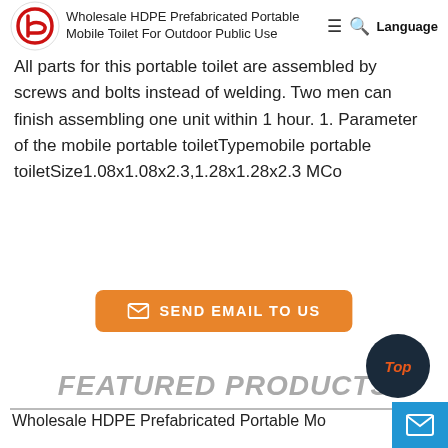Wholesale HDPE Prefabricated Portable Mobile Toilet For Outdoor Public Use
All parts for this portable toilet are assembled by screws and bolts instead of welding. Two men can finish assembling one unit within 1 hour. 1. Parameter of the mobile portable toiletTypemobile portable toiletSize1.08x1.08x2.3,1.28x1.28x2.3 MCo
[Figure (other): Orange button with envelope icon labeled SEND EMAIL TO US]
FEATURED PRODUCTS
Wholesale HDPE Prefabricated Portable Mo